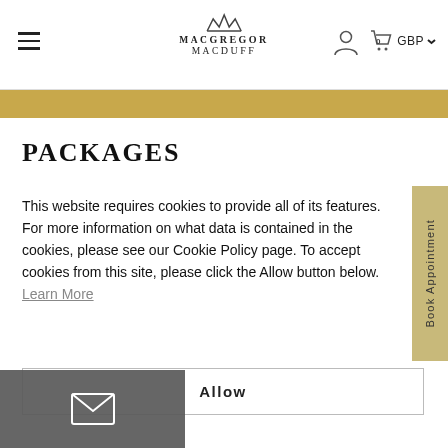MacGREGOR MacDUFF — Navigation bar with hamburger menu, logo, user icon, cart (0), GBP currency selector
PACKAGES
This website requires cookies to provide all of its features. For more information on what data is contained in the cookies, please see our Cookie Policy page. To accept cookies from this site, please click the Allow button below. Learn More
Allow
[Figure (other): Email icon on dark grey background overlay at bottom left]
[Figure (other): Book Appointment vertical sidebar button on gold/tan background on the right side]